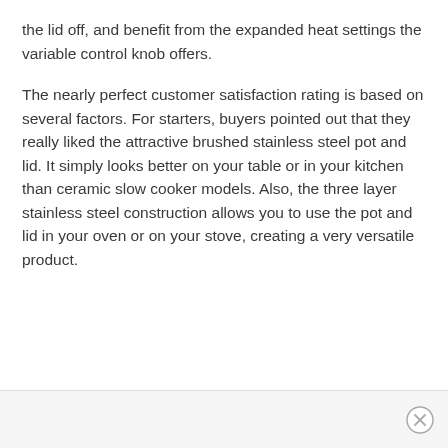the lid off, and benefit from the expanded heat settings the variable control knob offers.
The nearly perfect customer satisfaction rating is based on several factors. For starters, buyers pointed out that they really liked the attractive brushed stainless steel pot and lid. It simply looks better on your table or in your kitchen than ceramic slow cooker models. Also, the three layer stainless steel construction allows you to use the pot and lid in your oven or on your stove, creating a very versatile product.